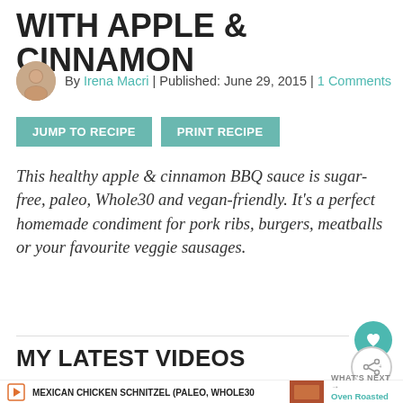WITH APPLE & CINNAMON
By Irena Macri | Published: June 29, 2015 | 1 Comments
JUMP TO RECIPE   PRINT RECIPE
This healthy apple & cinnamon BBQ sauce is sugar-free, paleo, Whole30 and vegan-friendly. It's a perfect homemade condiment for pork ribs, burgers, meatballs or your favourite veggie sausages.
MY LATEST VIDEOS
MEXICAN CHICKEN SCHNITZEL (PALEO, WHOLE30
WHAT'S NEXT → Oven Roasted Pork Ribs...